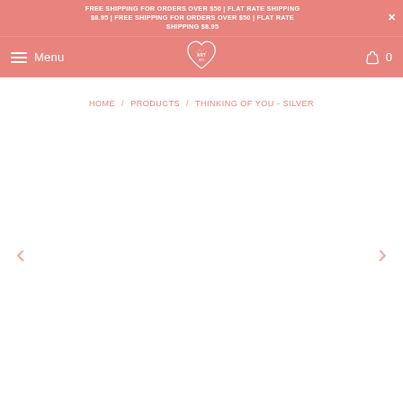FREE SHIPPING FOR ORDERS OVER $50 | FLAT RATE SHIPPING $8.95 | FREE SHIPPING FOR ORDERS OVER $50 | FLAT RATE SHIPPING $8.95
Menu | Logo | 0
HOME / PRODUCTS / THINKING OF YOU - SILVER
[Figure (other): Empty white product image area with left and right navigation arrows in pink]